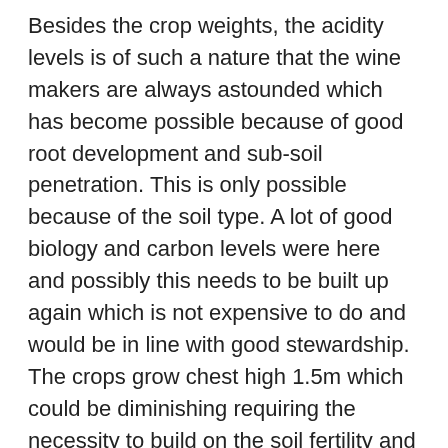Besides the crop weights, the acidity levels is of such a nature that the wine makers are always astounded which has become possible because of good root development and sub-soil penetration. This is only possible because of the soil type. A lot of good biology and carbon levels were here and possibly this needs to be built up again which is not expensive to do and would be in line with good stewardship. The crops grow chest high 1.5m which could be diminishing requiring the necessity to build on the soil fertility and to choose different cover crops. The growth of the vines are very strong and even when the original design was done for the Shiraz, the distance between the vines was increased and even with this, the growth is so vigorous that one knows that the right decisions were made at the